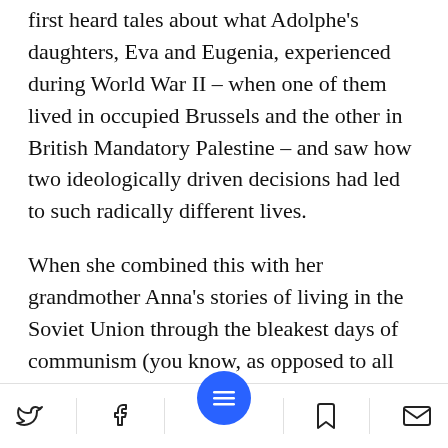first heard tales about what Adolphe's daughters, Eva and Eugenia, experienced during World War II – when one of them lived in occupied Brussels and the other in British Mandatory Palestine – and saw how two ideologically driven decisions had led to such radically different lives.
When she combined this with her grandmother Anna's stories of living in the Soviet Union through the bleakest days of communism (you know, as opposed to all those cheery ones), Ragozhina knew she had a story to tell.
Social share and navigation bar with Twitter, Facebook, menu, bookmark, and email icons